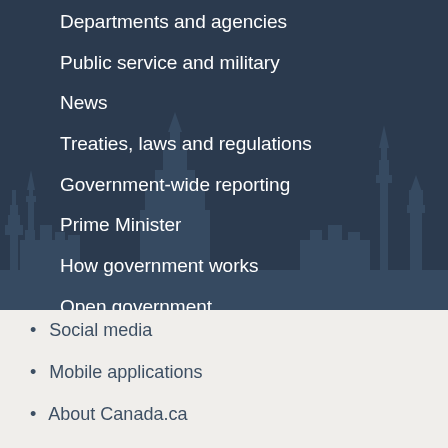Departments and agencies
Public service and military
News
Treaties, laws and regulations
Government-wide reporting
Prime Minister
How government works
Open government
Social media
Mobile applications
About Canada.ca